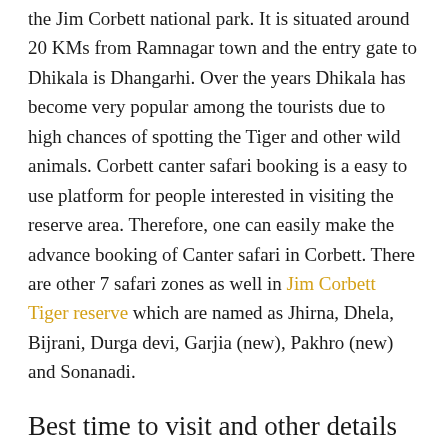the Jim Corbett national park. It is situated around 20 KMs from Ramnagar town and the entry gate to Dhikala is Dhangarhi. Over the years Dhikala has become very popular among the tourists due to high chances of spotting the Tiger and other wild animals. Corbett canter safari booking is a easy to use platform for people interested in visiting the reserve area. Therefore, one can easily make the advance booking of Canter safari in Corbett. There are other 7 safari zones as well in Jim Corbett Tiger reserve which are named as Jhirna, Dhela, Bijrani, Durga devi, Garjia (new), Pakhro (new) and Sonanadi.
Best time to visit and other details
It is advisable to book Canter safari Jim Corbett prior to 30 to 45 days to avoid non availability of permits. Dhikala remains open for tourist from 15th November to